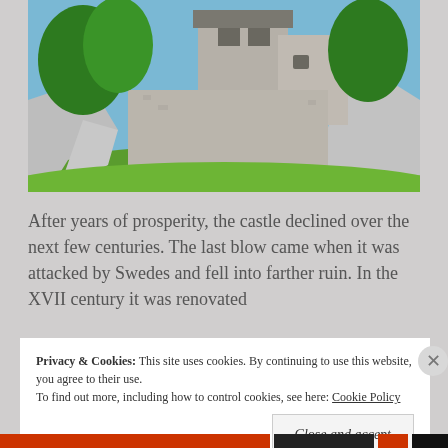[Figure (photo): Photo of a medieval stone castle tower built on rocky limestone cliffs, surrounded by green trees and vegetation under a blue sky.]
After years of prosperity, the castle declined over the next few centuries. The last blow came when it was attacked by Swedes and fell into farther ruin. In the XVII century it was renovated
Privacy & Cookies: This site uses cookies. By continuing to use this website, you agree to their use. To find out more, including how to control cookies, see here: Cookie Policy